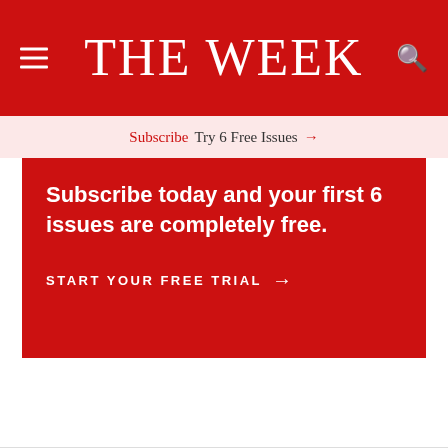THE WEEK
Subscribe  Try 6 Free Issues →
Subscribe today and your first 6 issues are completely free.
START YOUR FREE TRIAL →